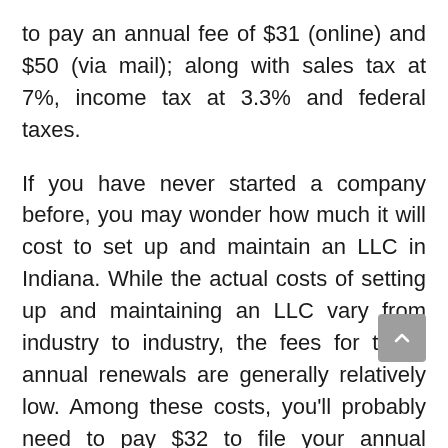to pay an annual fee of $31 (online) and $50 (via mail); along with sales tax at 7%, income tax at 3.3% and federal taxes.
If you have never started a company before, you may wonder how much it will cost to set up and maintain an LLC in Indiana. While the actual costs of setting up and maintaining an LLC vary from industry to industry, the fees for these annual renewals are generally relatively low. Among these costs, you'll probably need to pay $32 to file your annual report. You can find a complete list of all the necessary business forms and fees at the Indiana Secretary of State's website.
In addition to filing your annual reports, you'll need to